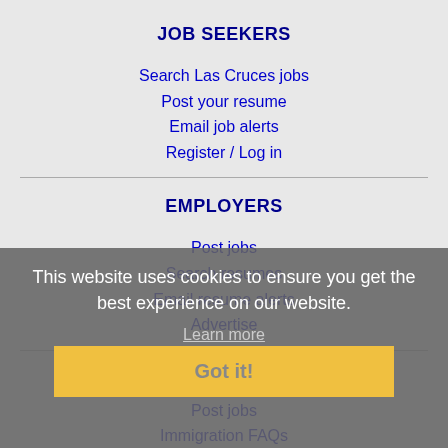JOB SEEKERS
Search Las Cruces jobs
Post your resume
Email job alerts
Register / Log in
EMPLOYERS
Post jobs
Search resumes
Email resume alerts
Advertise
IMMIGRATION SPECIALISTS
Post jobs
Immigration FAQs
Learn more
This website uses cookies to ensure you get the best experience on our website.
Learn more
Got it!